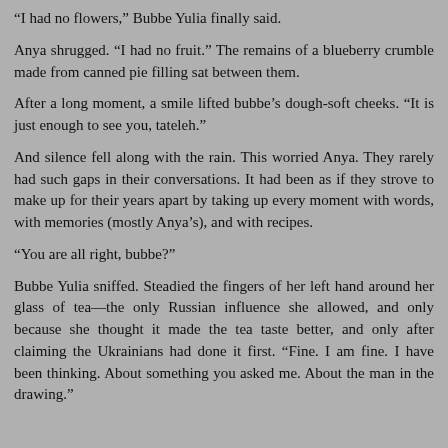“I had no flowers,” Bubbe Yulia finally said.
Anya shrugged. “I had no fruit.” The remains of a blueberry crumble made from canned pie filling sat between them.
After a long moment, a smile lifted bubbe’s dough-soft cheeks. “It is just enough to see you, tateleh.”
And silence fell along with the rain. This worried Anya. They rarely had such gaps in their conversations. It had been as if they strove to make up for their years apart by taking up every moment with words, with memories (mostly Anya’s), and with recipes.
“You are all right, bubbe?”
Bubbe Yulia sniffed. Steadied the fingers of her left hand around her glass of tea—the only Russian influence she allowed, and only because she thought it made the tea taste better, and only after claiming the Ukrainians had done it first. “Fine. I am fine. I have been thinking. About something you asked me. About the man in the drawing.”